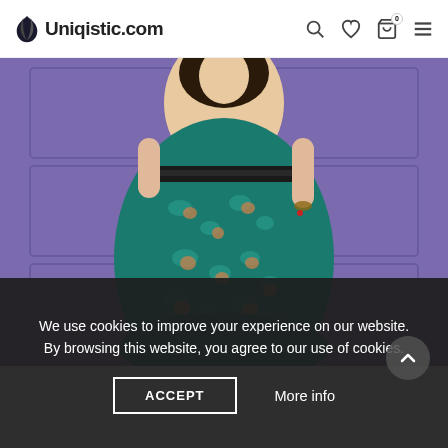Uniqistic.com
[Figure (photo): Woman wearing a green and brown floral print midi dress with black waistband, standing in front of a purple/lavender wall panel backdrop.]
We use cookies to improve your experience on our website. By browsing this website, you agree to our use of cookies.
ACCEPT
More info